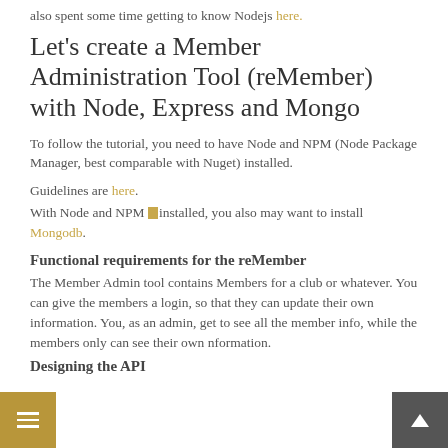also spent some time getting to know Nodejs here.
Let's create a Member Administration Tool (reMember) with Node, Express and Mongo
To follow the tutorial, you need to have Node and NPM (Node Package Manager, best comparable with Nuget) installed.
Guidelines are here.
With Node and NPM installed, you also may want to install Mongodb.
Functional requirements for the reMember
The Member Admin tool contains Members for a club or whatever. You can give the members a login, so that they can update their own information. You, as an admin, get to see all the member info, while the members only can see their own nformation.
Designing the API